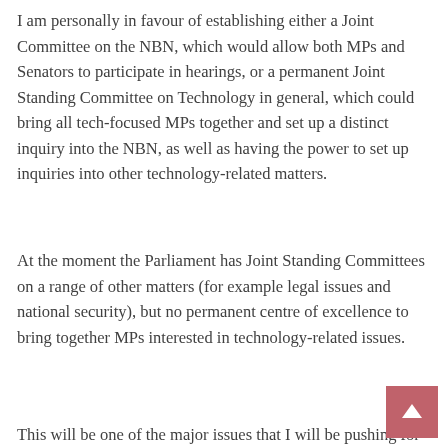I am personally in favour of establishing either a Joint Committee on the NBN, which would allow both MPs and Senators to participate in hearings, or a permanent Joint Standing Committee on Technology in general, which could bring all tech-focused MPs together and set up a distinct inquiry into the NBN, as well as having the power to set up inquiries into other technology-related matters.
At the moment the Parliament has Joint Standing Committees on a range of other matters (for example legal issues and national security), but no permanent centre of excellence to bring together MPs interested in technology-related issues.
This will be one of the major issues that I will be pushing for when the new Parliament starts sitting again after 2 July.
As for Palmer … well, I think he is bending the truth here a